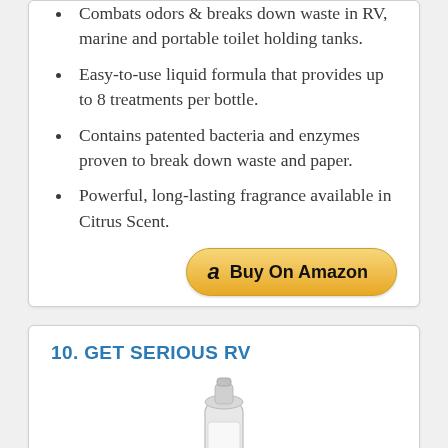Combats odors & breaks down waste in RV, marine and portable toilet holding tanks.
Easy-to-use liquid formula that provides up to 8 treatments per bottle.
Contains patented bacteria and enzymes proven to break down waste and paper.
Powerful, long-lasting fragrance available in Citrus Scent.
[Figure (other): Buy On Amazon button with Amazon logo]
10. GET SERIOUS RV
[Figure (photo): Partial image of a white plastic bottle product (GET SERIOUS RV)]